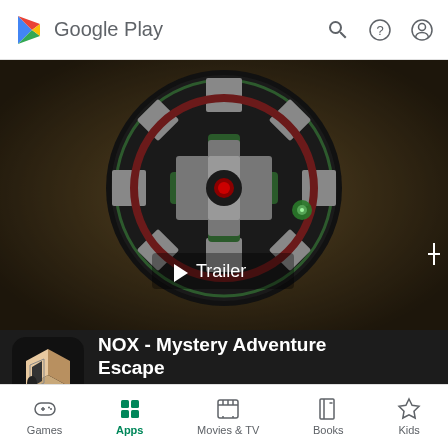Google Play
[Figure (screenshot): Google Play store page for NOX - Mystery Adventure Escape app showing a dart board game screenshot with Trailer button overlay]
NOX - Mystery Adventure Escape
Everbyte
Contains ads · In-app purchases
Games  Apps  Movies & TV  Books  Kids